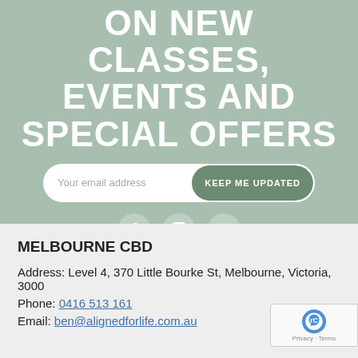ON NEW CLASSES, EVENTS AND SPECIAL OFFERS
[Figure (screenshot): Email signup form with placeholder 'Your email address' and button 'KEEP ME UPDATED']
[Figure (illustration): Three social media icons: Facebook, Instagram, YouTube]
MELBOURNE CBD
Address: Level 4, 370 Little Bourke St, Melbourne, Victoria, 3000
Phone: 0416 513 161
Email: ben@alignedforlife.com.au